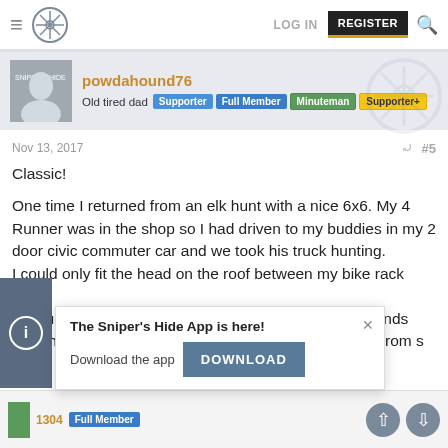LOG IN  REGISTER
powdahound76
Old tired dad  Supporter  Full Member  Minuteman  Supporter+
Nov 13, 2017  #5
Classic!

One time I returned from an elk hunt with a nice 6x6. My 4 Runner was in the shop so I had driven to my buddies in my 2 door civic commuter car and we took his truck hunting.
I could only fit the head on the roof between my bike rack bars.
My buddy lives in a very fancy neighborhood of Highlands Ranch, a south Denver suburb so it got a lot of looks from s
The Sniper's Hide App is here!
Download the app  DOWNLOAD